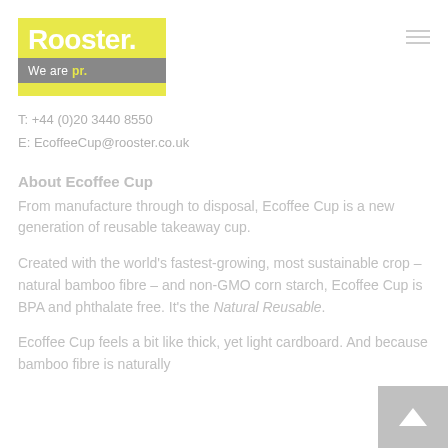Rooster. We are pr.
T: +44 (0)20 3440 8550
E: EcoffeeCup@rooster.co.uk
About Ecoffee Cup
From manufacture through to disposal, Ecoffee Cup is a new generation of reusable takeaway cup.
Created with the world's fastest-growing, most sustainable crop – natural bamboo fibre – and non-GMO corn starch, Ecoffee Cup is BPA and phthalate free. It's the Natural Reusable.
Ecoffee Cup feels a bit like thick, yet light cardboard. And because bamboo fibre is naturally